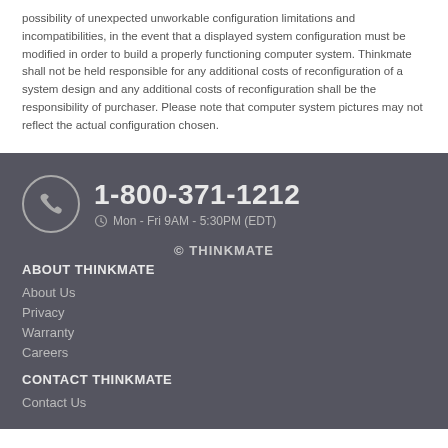possibility of unexpected unworkable configuration limitations and incompatibilities, in the event that a displayed system configuration must be modified in order to build a properly functioning computer system. Thinkmate shall not be held responsible for any additional costs of reconfiguration of a system design and any additional costs of reconfiguration shall be the responsibility of purchaser. Please note that computer system pictures may not reflect the actual configuration chosen.
1-800-371-1212
Mon - Fri 9AM - 5:30PM (EDT)
© THINKMATE
ABOUT THINKMATE
About Us
Privacy
Warranty
Careers
CONTACT THINKMATE
Contact Us